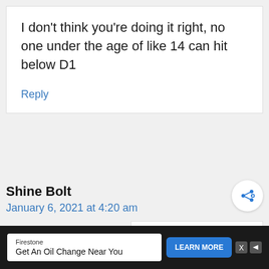I don't think you're doing it right, no one under the age of like 14 can hit below D1
Reply
Shine Bolt
January 6, 2021 at 4:20 am
WHAT'S NEXT → Vocal Range Charts in 20...
Firestone
Get An Oil Change Near You
LEARN MORE